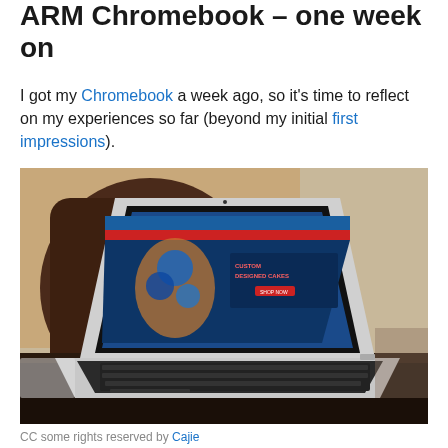ARM Chromebook – one week on
I got my Chromebook a week ago, so it's time to reflect on my experiences so far (beyond my initial first impressions).
[Figure (photo): A Samsung Chromebook laptop open on a dark table, showing a website about custom designed cakes on its screen, with a dark cushion/pillow in the background.]
CC some rights reserved by Cajie